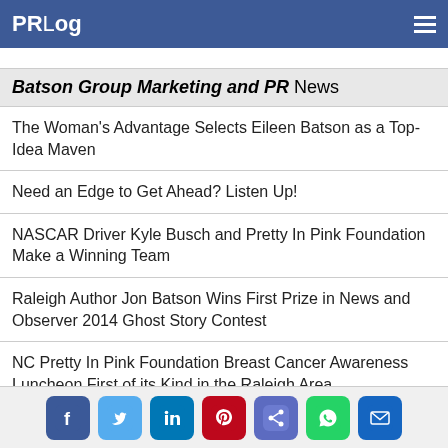PRLog
Batson Group Marketing and PR News
The Woman's Advantage Selects Eileen Batson as a Top-Idea Maven
Need an Edge to Get Ahead? Listen Up!
NASCAR Driver Kyle Busch and Pretty In Pink Foundation Make a Winning Team
Raleigh Author Jon Batson Wins First Prize in News and Observer 2014 Ghost Story Contest
NC Pretty In Pink Foundation Breast Cancer Awareness Luncheon First of its Kind in the Raleigh Area
Trending
Social share icons: Facebook, Twitter, LinkedIn, Pinterest, Share, WhatsApp, Email